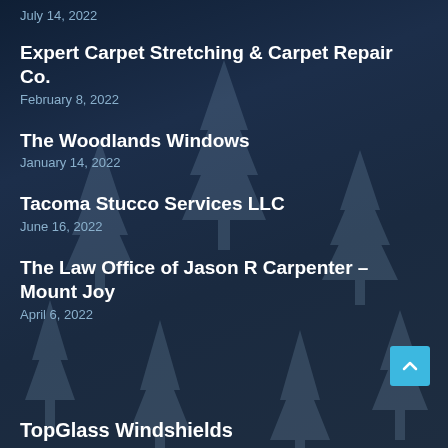July 14, 2022
Expert Carpet Stretching & Carpet Repair Co.
February 8, 2022
The Woodlands Windows
January 14, 2022
Tacoma Stucco Services LLC
June 16, 2022
The Law Office of Jason R Carpenter – Mount Joy
April 6, 2022
TopGlass Windshields